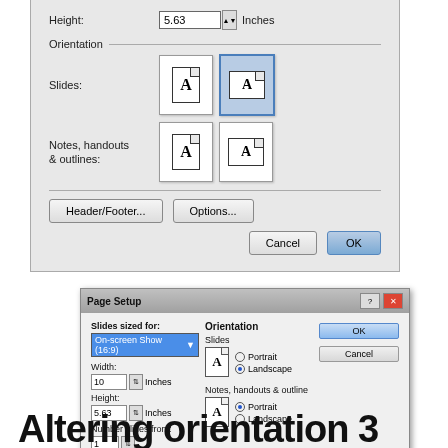[Figure (screenshot): Top portion of a Page Setup dialog box (partially shown) with Height field set to 5.63 Inches, Orientation section with Slides showing portrait and landscape (landscape selected) orientation buttons, Notes/handouts & outlines orientation buttons, and Header/Footer, Options, Cancel, OK buttons at the bottom.]
[Figure (screenshot): Full Page Setup dialog window showing: Slides sized for On-screen Show (16:9), Width 10 Inches, Height 5.63 Inches, Number slides from 1. Orientation section with Slides Landscape selected and Notes, Handouts & outline Portrait selected. OK and Cancel buttons on right.]
Altering orientation 3